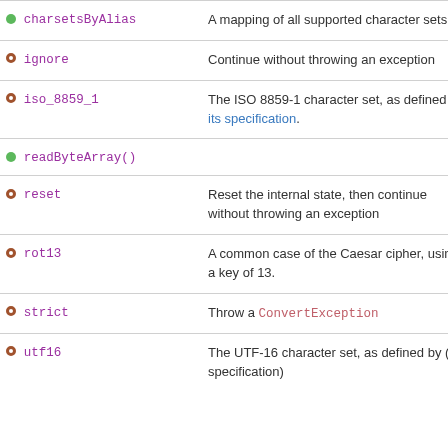| Name | Description |
| --- | --- |
| charsetsByAlias | A mapping of all supported character sets. |
| ignore | Continue without throwing an exception |
| iso_8859_1 | The ISO 8859-1 character set, as defined by its specification. |
| readByteArray() |  |
| reset | Reset the internal state, then continue without throwing an exception |
| rot13 | A common case of the Caesar cipher, using a key of 13. |
| strict | Throw a ConvertException |
| utf16 | The UTF-16 character set, as defined by (its specification) |